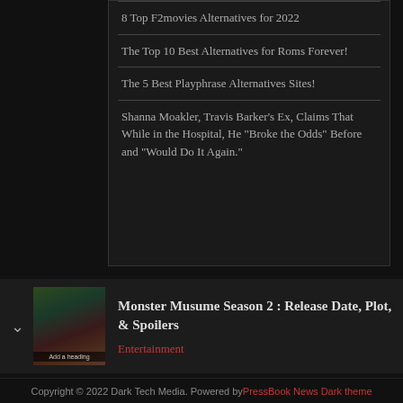8 Top F2movies Alternatives for 2022
The Top 10 Best Alternatives for Roms Forever!
The 5 Best Playphrase Alternatives Sites!
Shanna Moakler, Travis Barker’s Ex, Claims That While in the Hospital, He “Broke the Odds” Before and “Would Do It Again.”
[Figure (photo): Thumbnail image for Monster Musume Season 2 article, showing anime characters]
Monster Musume Season 2 : Release Date, Plot, & Spoilers
Entertainment
Copyright © 2022 Dark Tech Media. Powered by PressBook News Dark theme